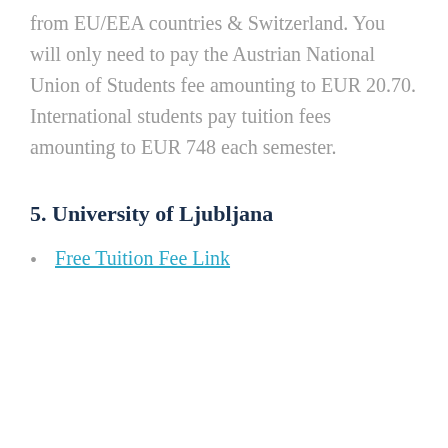from EU/EEA countries & Switzerland. You will only need to pay the Austrian National Union of Students fee amounting to EUR 20.70. International students pay tuition fees amounting to EUR 748 each semester.
5. University of Ljubljana
Free Tuition Fee Link